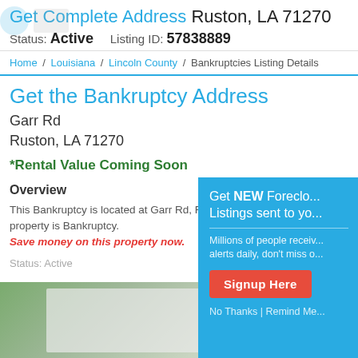Get Complete Address Ruston, LA 71270
Status: Active    Listing ID: 57838889
Home / Louisiana / Lincoln County / Bankruptcies Listing Details
Get the Bankruptcy Address
Garr Rd
Ruston, LA 71270
*Rental Value Coming Soon
Overview
This Bankruptcy is located at Garr Rd, R... property is Bankruptcy. Save money on this property now.
Status: Active
[Figure (infographic): Popup overlay with teal background promoting 'Get NEW Foreclosure Listings sent to you'. Contains body text about millions of people receiving alerts daily, a red 'Signup Here' button, and 'No Thanks | Remind Me' link.]
[Figure (photo): Blurred outdoor photo at bottom of page showing green grass/foliage with a faded white sign or document in the center.]